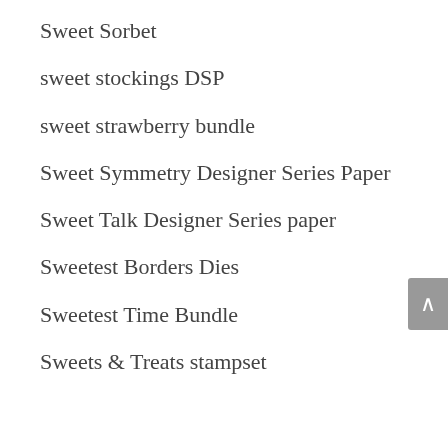Sweet Sorbet
sweet stockings DSP
sweet strawberry bundle
Sweet Symmetry Designer Series Paper
Sweet Talk Designer Series paper
Sweetest Borders Dies
Sweetest Time Bundle
Sweets & Treats stampset